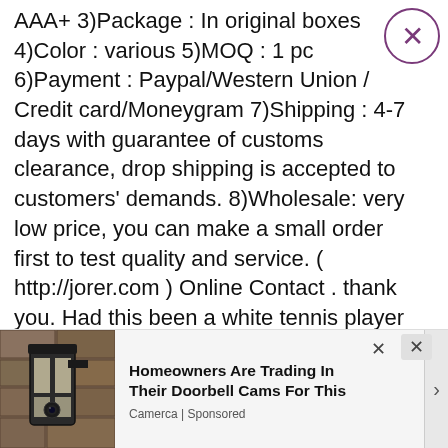AAA+ 3)Package : In original boxes 4)Color : various 5)MOQ : 1 pc 6)Payment : Paypal/Western Union / Credit card/Moneygram 7)Ship-ping : 4-7 days with guarantee of customs clearance, drop shipp-ing is accepted to customers' demands. 8)Wholesale: very low price, you can make a small order first to test quality and service. ( http://jorer.com ) Online Contact . thank you. Had this been a white tennis player no one would say a word....it's an outfit that's made to move with her body. I don't anything wrong with it but white America will....lol They can't beat her on the court so they bitch about her fit...
[Figure (photo): Outdoor wall lantern / security camera mounted on stone wall]
Homeowners Are Trading In Their Doorbell Cams For This
Camerca | Sponsored